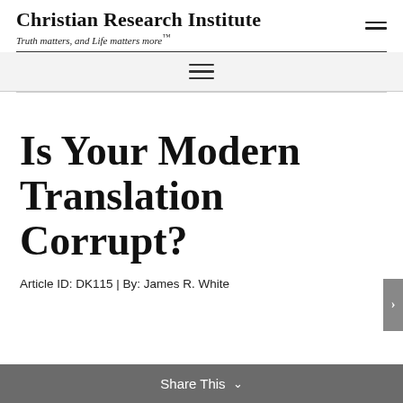Christian Research Institute — Truth matters, and Life matters more™
Is Your Modern Translation Corrupt?
Article ID: DK115 | By: James R. White
Share This